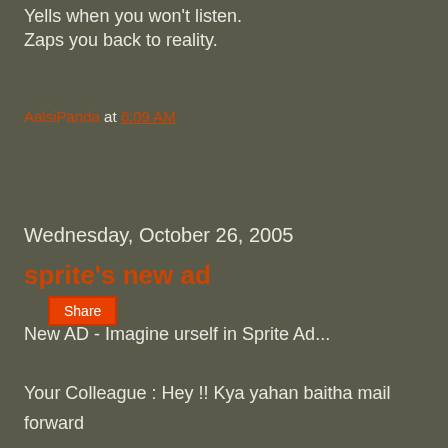Yells when you won't listen.
Zaps you back to reality.
AalsiPanda at 6:09 AM
Share
Wednesday, October 26, 2005
sprite's new ad
New AD - Imagine urself in Sprite Ad...

Your Colleague : Hey !! Kya yahan baitha mail forward

karta rahta hai yaar !! Naye packages dekh.... Naye

language seekh. Night out Maar....Fundoo programming

kar like me....! Do something cool man !!

You: Achha ! To usso Kya hoga...